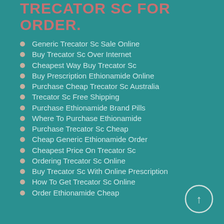TRECATOR SC FOR ORDER.
Generic Trecator Sc Sale Online
Buy Trecator Sc Over Internet
Cheapest Way Buy Trecator Sc
Buy Prescription Ethionamide Online
Purchase Cheap Trecator Sc Australia
Trecator Sc Free Shipping
Purchase Ethionamide Brand Pills
Where To Purchase Ethionamide
Purchase Trecator Sc Cheap
Cheap Generic Ethionamide Order
Cheapest Price On Trecator Sc
Ordering Trecator Sc Online
Buy Trecator Sc With Online Prescription
How To Get Trecator Sc Online
Order Ethionamide Cheap